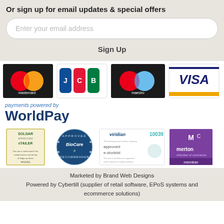Or sign up for email updates & special offers
Enter your email address
Sign Up
[Figure (logo): Payment method logos: Mastercard, JCB, Maestro, Visa, payments powered by WorldPay]
[Figure (logo): Trust badges: Solgar Approved eTailer, BioCare Approved Recommender, Viridian approved e-stockist 10039, Merton Chamber of Commerce member]
Marketed by Brand Web Designs
Powered by Cybertill (supplier of retail software, EPoS systems and ecommerce solutions)